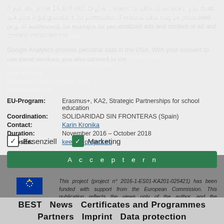If you are under 14 and wish to give consent to optional services, you must ask your legal guardians for permission. Personal data may be processed (e.g. IP addresses), for example for personalized ads and content or ad and content measurement.
Google Analytics process personal data in the USA. With your consent to use these services, you also consent to the
EU-Program: Erasmus+, KA2, Strategic Partnerships for school education
Coordination: SOLIDARIDAD SIN FRONTERAS (Spain)
Contact: Karin Kronika
Duration: November 2016 – October 2018
Website: keepon-project.eu
Essenziell   Marketing
Akzeptieren
This project (project n° 2016-1-ES01-KA201-025421) has been funded with support from the European Commission. This publication reflects the views only of the author, and the Commission cannot be held responsible for any use which may be made of the information contained therein.
BEST   News   Certificates and Programmes   Partners   Imprint   Data protection